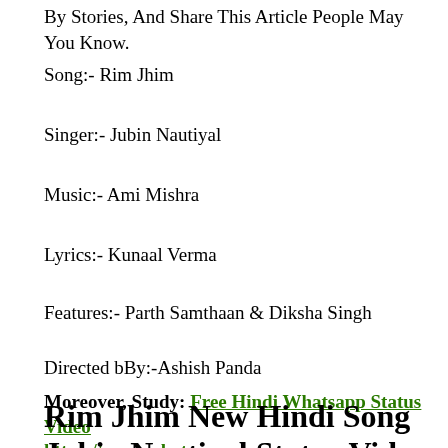By Stories, And Share This Article People May You Know.
Song:- Rim Jhim
Singer:- Jubin Nautiyal
Music:- Ami Mishra
Lyrics:- Kunaal Verma
Features:- Parth Samthaan  & Diksha Singh
Directed bBy:-Ashish Panda
Moreover, Study:  Free Hindi Whatsapp Status Video https://www.whatsapp.com
Rim Jhim New Hindi Song Jubin Nautiyal Status Video